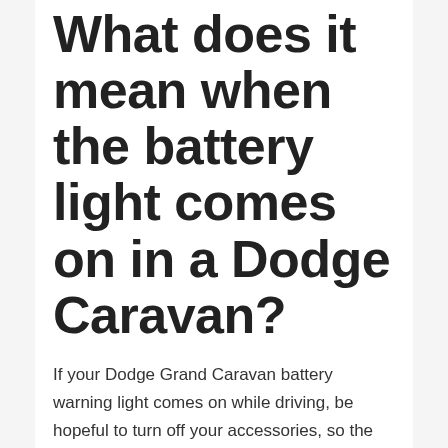What does it mean when the battery light comes on in a Dodge Caravan?
If your Dodge Grand Caravan battery warning light comes on while driving, be hopeful to turn off your accessories, so the battery doesn't discharge further. The warning light consistently means that the alternator isn't